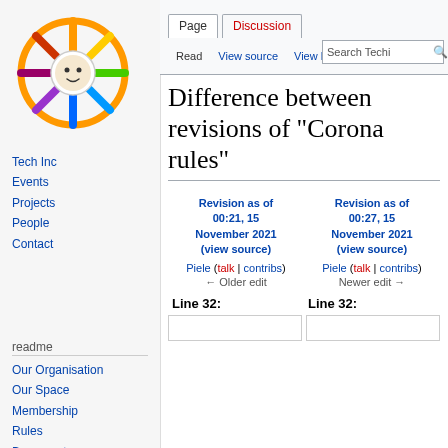[Figure (logo): Technicolor ship wheel logo with colorful spokes in orange, yellow, green, blue, purple, red colors and a small character in the center]
Create account  Log in
Page  Discussion  Read  View source  View history  Search Techni
Tech Inc
Events
Projects
People
Contact
readme
Our Organisation
Our Space
Membership
Rules
Bureaucats
Statutes
Disputes
Difference between revisions of "Corona rules"
| Revision as of 00:21, 15 November 2021 (view source) | Revision as of 00:27, 15 November 2021 (view source) |
| --- | --- |
| Piele (talk | contribs) | Piele (talk | contribs) |
| ← Older edit | Newer edit → |
Line 32:
Line 32: